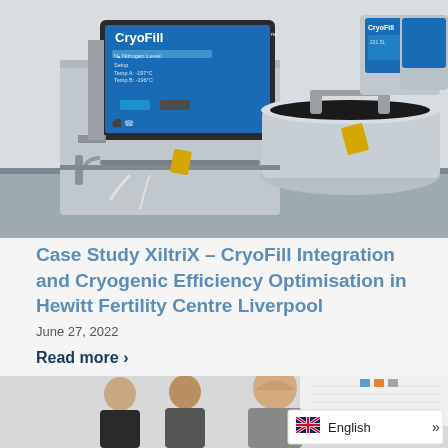[Figure (photo): Laboratory photo showing CryoFill cryogenic storage equipment with blue touchscreen display panels, metal canisters, and piping in a fertility centre lab setting.]
Case Study XiltriX – CryoFill Integration and Cryogenic Efficiency Optimisation in Hewitt Fertility Centre Liverpool
June 27, 2022
Read more >
[Figure (photo): Photo showing three people standing in a lab or office setting, with a chart or data display visible in the background. An English language selector badge overlaps the lower right.]